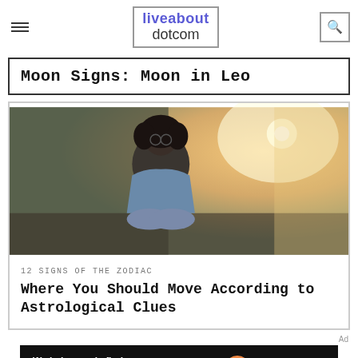liveabout dotcom
Moon Signs: Moon in Leo
[Figure (photo): Person with curly hair and glasses sitting cross-legged, wearing a denim jacket, with warm backlit light in background]
12 SIGNS OF THE ZODIAC
Where You Should Move According to Astrological Clues
Ad
[Figure (infographic): Dotdash Meredith advertisement banner: 'We help people find answers, solve problems and get inspired.' with Dotdash Meredith logo]